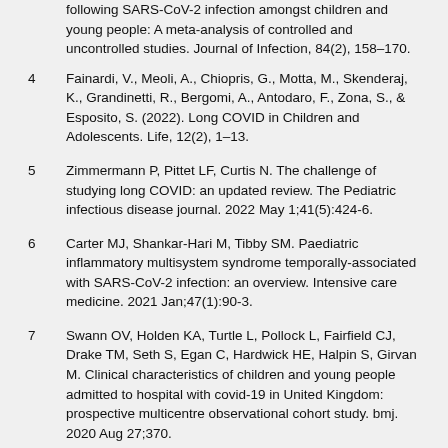following SARS-CoV-2 infection amongst children and young people: A meta-analysis of controlled and uncontrolled studies. Journal of Infection, 84(2), 158–170.
4   Fainardi, V., Meoli, A., Chiopris, G., Motta, M., Skenderaj, K., Grandinetti, R., Bergomi, A., Antodaro, F., Zona, S., & Esposito, S. (2022). Long COVID in Children and Adolescents. Life, 12(2), 1–13.
5   Zimmermann P, Pittet LF, Curtis N. The challenge of studying long COVID: an updated review. The Pediatric infectious disease journal. 2022 May 1;41(5):424-6.
6   Carter MJ, Shankar-Hari M, Tibby SM. Paediatric inflammatory multisystem syndrome temporally-associated with SARS-CoV-2 infection: an overview. Intensive care medicine. 2021 Jan;47(1):90-3.
7   Swann OV, Holden KA, Turtle L, Pollock L, Fairfield CJ, Drake TM, Seth S, Egan C, Hardwick HE, Halpin S, Girvan M. Clinical characteristics of children and young people admitted to hospital with covid-19 in United Kingdom: prospective multicentre observational cohort study. bmj. 2020 Aug 27;370.
8   Hoste L, Van Paemel R, Haerynck F. Multisystem inflammatory syndrome in children related to COVID-19: a systematic